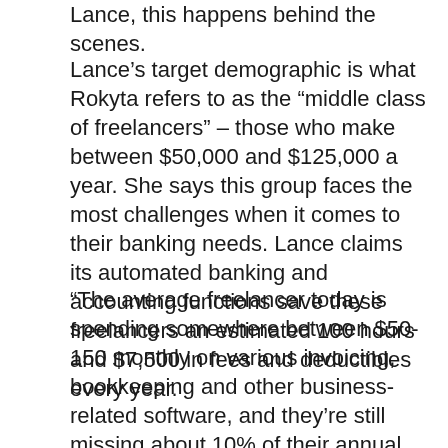Lance, this happens behind the scenes.
Lance's target demographic is what Rokyta refers to as the “middle class of freelancers” – those who make between $50,000 and $125,000 a year. She says this group faces the most challenges when it comes to their banking needs. Lance claims its automated banking and accounting functions save these freelancers an estimated 100 hours and $7,500 in fees and deductibles every year.
“The average freelancer today is spending somewhere between $50-150 monthly on various invoicing, bookkeeping and other business-related software, and they’re still missing about 10% of their annual income in missed tax-deductible business expenses,” said Rokyta. “By tracking all their business income and spending, we capture all the tax-deductible expenses